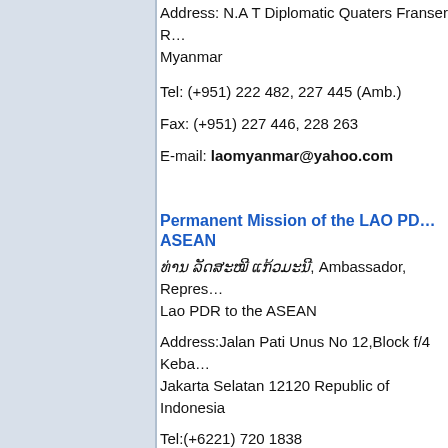Address: N.A T Diplomatic Quaters Franser Road, Myanmar
Tel: (+951) 222 482, 227 445 (Amb.)
Fax: (+951) 227 446, 228 263
E-mail: laomyanmar@yahoo.com
Permanent Mission of the LAO PDR to the ASEAN
ທ່ານ ລັດສະໝີ ແກ້ວມະນີ, Ambassador, Representative of Lao PDR to the ASEAN
Address:Jalan Pati Unus No 12,Block f/4 Kebayoran, Jakarta Selatan 12120 Republic of Indonesia
Tel:(+6221) 720 1838
E-mail: laoprjakarta@gmail.com
Fax: (+6221) 724 4759